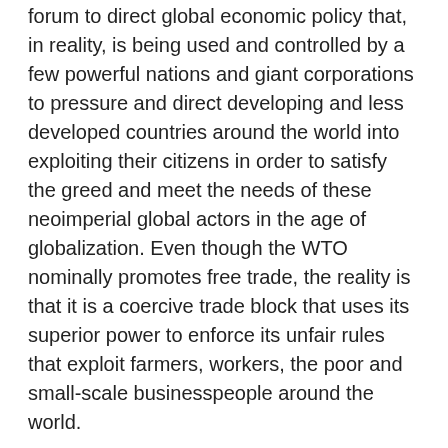forum to direct global economic policy that, in reality, is being used and controlled by a few powerful nations and giant corporations to pressure and direct developing and less developed countries around the world into exploiting their citizens in order to satisfy the greed and meet the needs of these neoimperial global actors in the age of globalization. Even though the WTO nominally promotes free trade, the reality is that it is a coercive trade block that uses its superior power to enforce its unfair rules that exploit farmers, workers, the poor and small-scale businesspeople around the world.
Thus, at every ministerial meeting of the WTO, people's movements from around the world, such as the Via Campesina, global unions, environmental activists, human rights activists, and women's organizations, have organized campaigns and protests to call on the WTO to seriously listen to the demands of the people who are adversely affected by WTO trade rules. At the 6th WTO Ministerial Meeting in